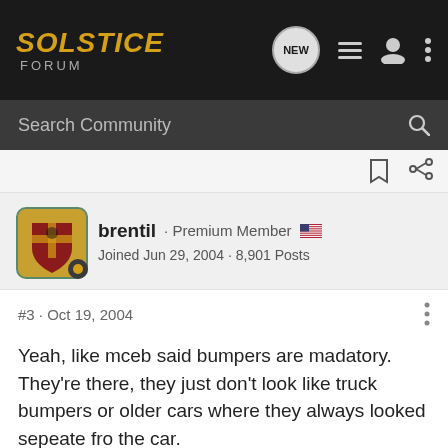SOLSTICE FORUM
Search Community
brentil · Premium Member
Joined Jun 29, 2004 · 8,901 Posts
#3 · Oct 19, 2004
Yeah, like mceb said bumpers are madatory. They're there, they just don't look like truck bumpers or older cars where they always looked sepeate fro the car.
2006 Mysterious Solstice
2007 Mean Solstice GXP